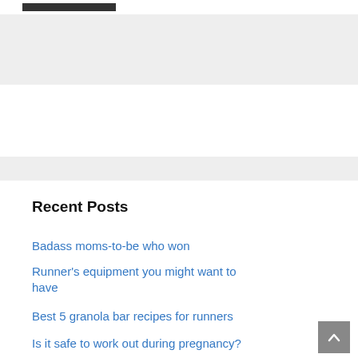[Figure (other): Gray advertisement/banner band at top of page]
[Figure (other): Gray advertisement/banner band below white space]
Recent Posts
Badass moms-to-be who won
Runner's equipment you might want to have
Best 5 granola bar recipes for runners
Is it safe to work out during pregnancy?